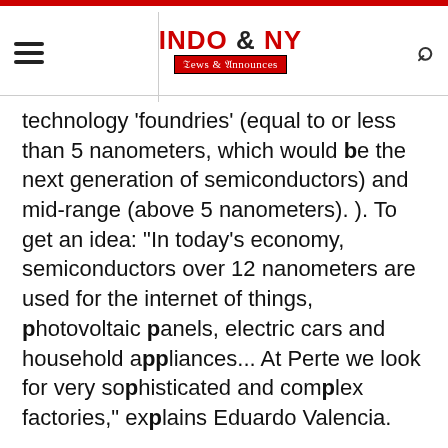INDO & NY News & Announces
technology 'foundries' (equal to or less than 5 nanometers, which would be the next generation of semiconductors) and mid-range (above 5 nanometers). ). To get an idea: "In today's economy, semiconductors over 12 nanometers are used for the internet of things, photovoltaic panels, electric cars and household appliances... At Perte we look for very sophisticated and complex factories," explains Eduardo Valencia.
That is the trend of the future: in less space, greater capacity. And Spain can be in that leading niche. "We have small niche companies that could design certain components in what we call advanced manufacturing, below 5 nanometres. It is a continuous race to miniturization. In smaller silicon